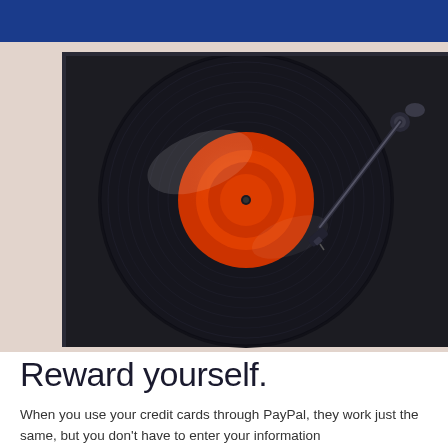[Figure (photo): Overhead view of a vinyl record spinning on a turntable with an orange/red label in the center and a tonearm resting on the record. The turntable body is dark/black and sits on a light pinkish-beige surface.]
Reward yourself.
When you use your credit cards through PayPal, they work just the same, but you don't have to enter your information